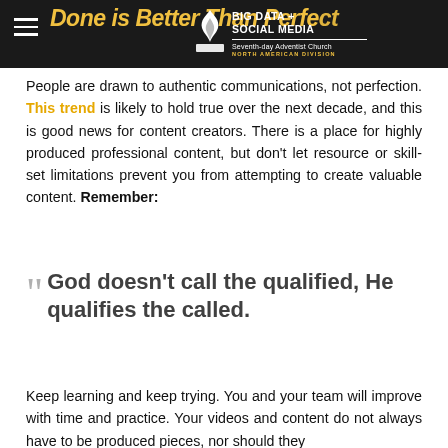Done is Better Than Perfect — BIG DATA + SOCIAL MEDIA — Seventh-day Adventist Church North American Division
People are drawn to authentic communications, not perfection. This trend is likely to hold true over the next decade, and this is good news for content creators. There is a place for highly produced professional content, but don't let resource or skill-set limitations prevent you from attempting to create valuable content. Remember:
God doesn't call the qualified, He qualifies the called.
Keep learning and keep trying. You and your team will improve with time and practice. Your videos and content do not always have to be produced pieces, nor should they